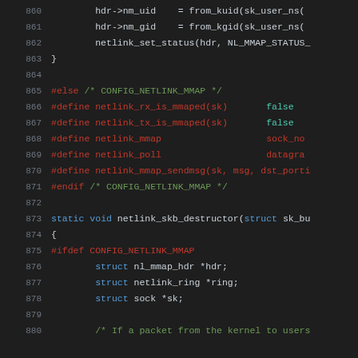Source code listing lines 860-880, C kernel netlink mmap code
860: hdr->nm_uid = from_kuid(sk_user_ns(
861: hdr->nm_gid = from_kgid(sk_user_ns(
862: netlink_set_status(hdr, NL_MMAP_STATUS_
863: }
864: (empty)
865: #else /* CONFIG_NETLINK_MMAP */
866: #define netlink_rx_is_mmaped(sk)   false
867: #define netlink_tx_is_mmaped(sk)   false
868: #define netlink_mmap   sock_no
869: #define netlink_poll   datagra
870: #define netlink_mmap_sendmsg(sk, msg, dst_porti
871: #endif /* CONFIG_NETLINK_MMAP */
872: (empty)
873: static void netlink_skb_destructor(struct sk_bu
874: {
875: #ifdef CONFIG_NETLINK_MMAP
876: struct nl_mmap_hdr *hdr;
877: struct netlink_ring *ring;
878: struct sock *sk;
879: (empty)
880: /* If a packet from the kernel to users